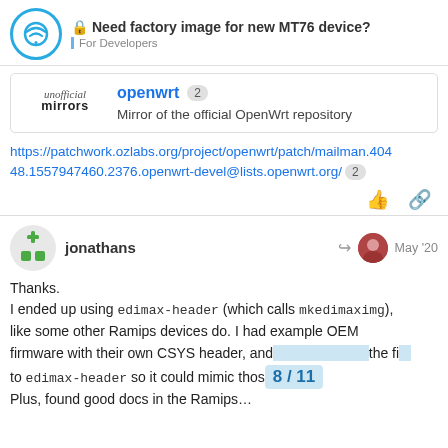Need factory image for new MT76 device? For Developers
[Figure (screenshot): Embedded card showing unofficial mirrors logo and openwrt repository with badge '2' and description 'Mirror of the official OpenWrt repository']
https://patchwork.ozlabs.org/project/openwrt/patch/mailman.40448.1557947460.2376.openwrt-devel@lists.openwrt.org/ 2
jonathans May '20
Thanks.
I ended up using edimax-header (which calls mkedimaximg), like some other Ramips devices do. I had example OEM firmware with their own CSYS header, and to edimax-header so it could mimic thos... Plus, found good docs in the Ramips...